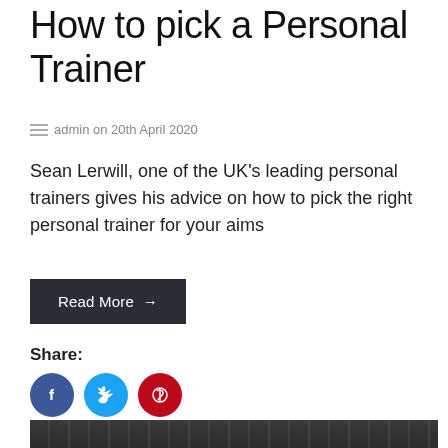How to pick a Personal Trainer
admin on 20th April 2020
Sean Lerwill, one of the UK's leading personal trainers gives his advice on how to pick the right personal trainer for your aims
Read More →
Share:
[Figure (photo): Bottom portion of a gym/fitness equipment photo, dark tones showing exercise machine handles and frames]